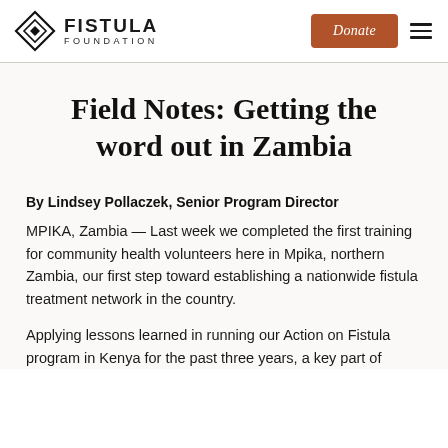FISTULA FOUNDATION | Donate
Field Notes: Getting the word out in Zambia
By Lindsey Pollaczek, Senior Program Director
MPIKA, Zambia — Last week we completed the first training for community health volunteers here in Mpika, northern Zambia, our first step toward establishing a nationwide fistula treatment network in the country.
Applying lessons learned in running our Action on Fistula program in Kenya for the past three years, a key part of